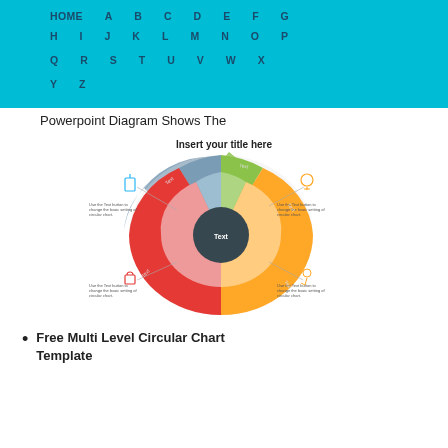HOME  A  B  C  D  E  F  G  H  I  J  K  L  M  N  O  P  Q  R  S  T  U  V  W  X  Y  Z
Powerpoint Diagram Shows The
[Figure (infographic): A multi-level circular chart diagram with the title 'Insert your title here'. The diagram shows a circular/oval chart divided into 4 colored quadrants: blue-grey (top left), green (top right), red (bottom left), and orange (bottom right), with a dark center circle labeled 'Text'. Four icon labels surround the chart with small descriptive text blocks.]
Free Multi Level Circular Chart Template